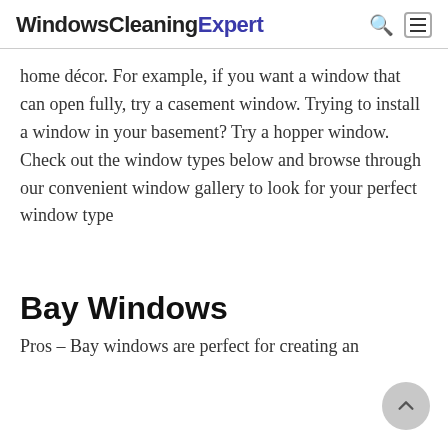WindowsCleaningExpert
home décor. For example, if you want a window that can open fully, try a casement window. Trying to install a window in your basement? Try a hopper window. Check out the window types below and browse through our convenient window gallery to look for your perfect window type
Bay Windows
Pros – Bay windows are perfect for creating an